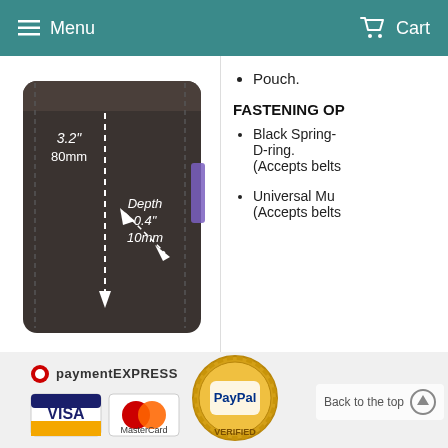Menu   Cart
[Figure (photo): Dark brown leather pouch with white dashed lines showing dimensions: 3.2 inches / 80mm width, Depth 0.4 inches / 10mm]
Pouch.
FASTENING OP
Black Spring- D-ring. (Accepts belts
Universal Mu (Accepts belts
[Figure (logo): Payment logos: PaymentExpress, Visa, MasterCard, PayPal Verified seal]
Back to the top